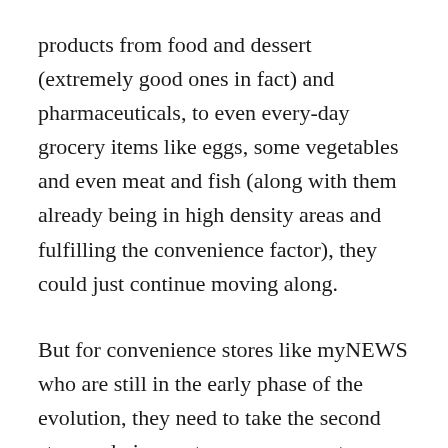products from food and dessert (extremely good ones in fact) and pharmaceuticals, to even every-day grocery items like eggs, some vegetables and even meat and fish (along with them already being in high density areas and fulfilling the convenience factor), they could just continue moving along.
But for convenience stores like myNEWS who are still in the early phase of the evolution, they need to take the second step, and give customers a reason to come to their stores again.
Sugar (and then food). One of the three most addictive things in the world, with the other two being